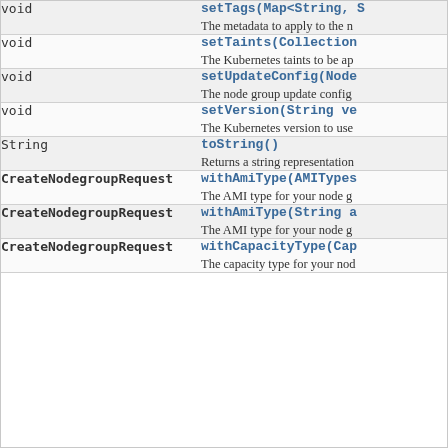| Return Type | Method and Description |
| --- | --- |
| void | setTags(Map<String, S…
The metadata to apply to the n… |
| void | setTaints(Collection…
The Kubernetes taints to be ap… |
| void | setUpdateConfig(Node…
The node group update config… |
| void | setVersion(String ve…
The Kubernetes version to use… |
| String | toString()
Returns a string representation… |
| CreateNodegroupRequest | withAmiType(AMITypes…
The AMI type for your node g… |
| CreateNodegroupRequest | withAmiType(String a…
The AMI type for your node g… |
| CreateNodegroupRequest | withCapacityType(Cap…
The capacity type for your nod… |